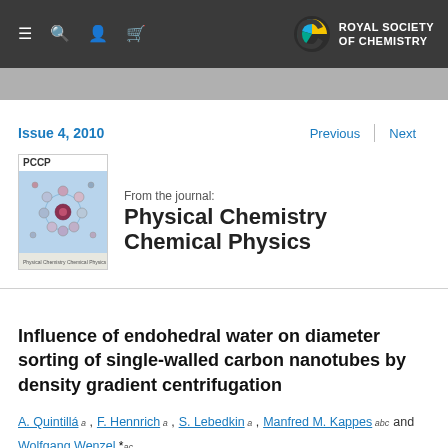Royal Society of Chemistry navigation
Issue 4, 2010
Previous | Next
[Figure (photo): PCCP journal cover image showing molecular structures on a blue background]
From the journal: Physical Chemistry Chemical Physics
Influence of endohedral water on diameter sorting of single-walled carbon nanotubes by density gradient centrifugation
A. Quintillá, a F. Hennrich, a S. Lebedkin, a Manfred M. Kappes abc and Wolfgang Wenzel * ac